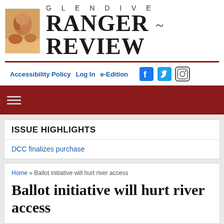[Figure (logo): Glendive Ranger Review newspaper logo with rock formation image and serif masthead text]
Accessibility Policy  Log In  e-Edition
Home » Ballot initiative will hurt river access
Ballot initiative will hurt river access
ISSUE HIGHLIGHTS
DCC finalizes purchase